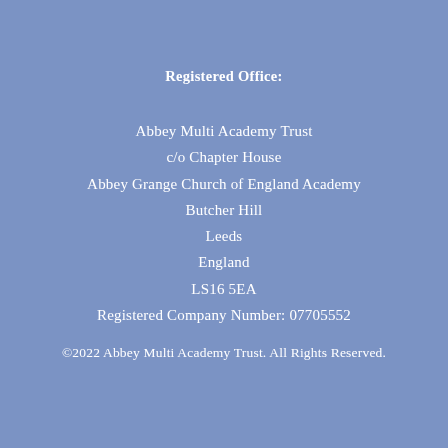Registered Office:
Abbey Multi Academy Trust
c/o Chapter House
Abbey Grange Church of England Academy
Butcher Hill
Leeds
England
LS16 5EA
Registered Company Number: 07705552
©2022 Abbey Multi Academy Trust. All Rights Reserved.